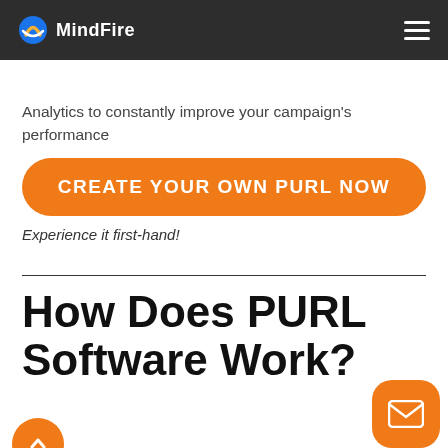MindFire
Analytics to constantly improve your campaign's performance
CREATE YOUR OWN PURL NOW
Experience it first-hand!
How Does PURL Software Work?
Personalized URLs Provi... a